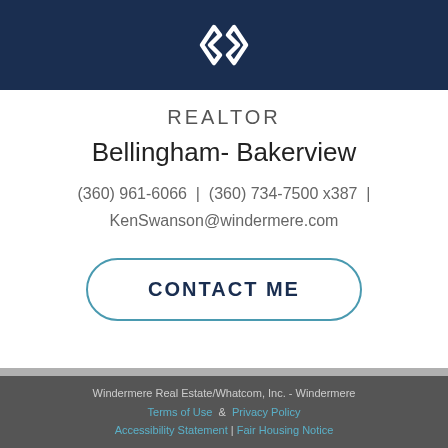[Figure (logo): Windermere Real Estate logo — two overlapping diamond/arrow shapes in white on dark navy background]
REALTOR
Bellingham- Bakerview
(360) 961-6066  |  (360) 734-7500 x387  |  KenSwanson@windermere.com
CONTACT ME
Windermere Real Estate/Whatcom, Inc. - Windermere  Terms of Use  &  Privacy Policy  Accessibility Statement | Fair Housing Notice